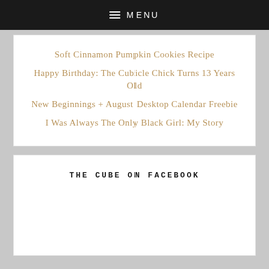MENU
Soft Cinnamon Pumpkin Cookies Recipe
Happy Birthday: The Cubicle Chick Turns 13 Years Old
New Beginnings + August Desktop Calendar Freebie
I Was Always The Only Black Girl: My Story
THE CUBE ON FACEBOOK